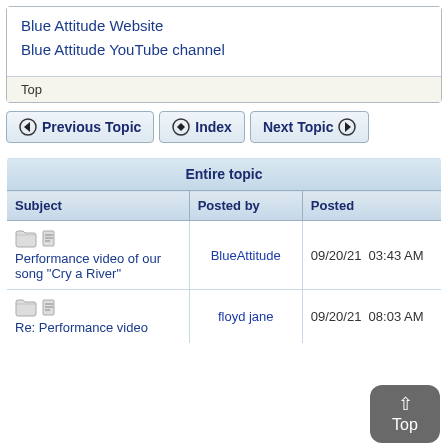Blue Attitude Website
Blue Attitude YouTube channel
Top
◆ Previous Topic   ◆ Index   Next Topic ◆
| Entire topic |  |  |
| --- | --- | --- |
| Subject | Posted by | Posted |
| [folder icon] [page icon] Performance video of our song "Cry a River" | BlueAttitude | 09/20/21  03:43 AM |
| [folder icon] [page icon] Re: Performance video | floyd jane | 09/20/21  08:03 AM |